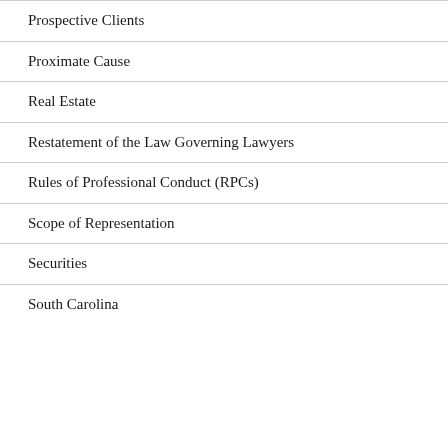Prospective Clients
Proximate Cause
Real Estate
Restatement of the Law Governing Lawyers
Rules of Professional Conduct (RPCs)
Scope of Representation
Securities
South Carolina